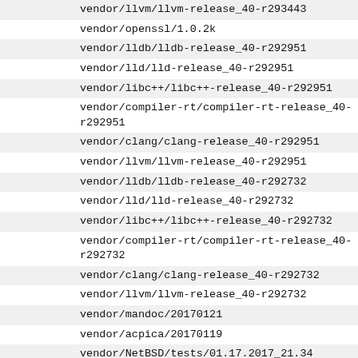vendor/llvm/llvm-release_40-r293443
vendor/openssl/1.0.2k
vendor/lldb/lldb-release_40-r292951
vendor/lld/lld-release_40-r292951
vendor/libc++/libc++-release_40-r292951
vendor/compiler-rt/compiler-rt-release_40-r292951
vendor/clang/clang-release_40-r292951
vendor/llvm/llvm-release_40-r292951
vendor/lldb/lldb-release_40-r292732
vendor/lld/lld-release_40-r292732
vendor/libc++/libc++-release_40-r292732
vendor/compiler-rt/compiler-rt-release_40-r292732
vendor/clang/clang-release_40-r292732
vendor/llvm/llvm-release_40-r292732
vendor/mandoc/20170121
vendor/acpica/20170119
vendor/NetBSD/tests/01.17.2017_21.34
vendor/zlib/1.2.11
vendor/lldb/lldb-release_40-r292009
vendor/lld/lld-release_40-r292009
vendor/libc++/libc++-release_40-r292009
vendor/compiler-rt/compiler-rt-release_40-r292009
vendor/clang/clang-release_40-r292009
vendor/llvm/llvm-release_40-r292009
vendor/NetBSD/tests/01.11.2017_23.20
vendor/lldb/lldb-trunk-r291476